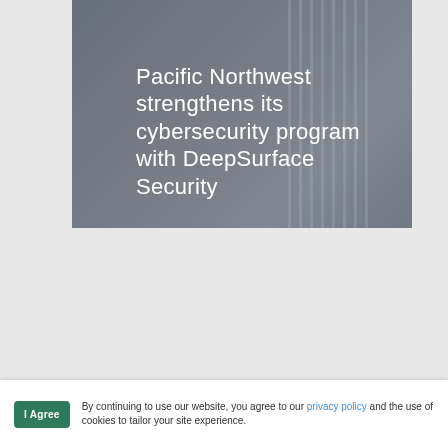[Figure (screenshot): Top card with dark grey/blue textured background showing vertical lines on right side, containing white title text about Pacific Northwest cybersecurity program]
Pacific Northwest strengthens its cybersecurity program with DeepSurface Security
[Figure (screenshot): Bottom card with blue-grey gradient background, showing CASE STUDY label in cyan and white title text OnPoint Community Credit Union]
CASE STUDY
OnPoint Community Credit Union
By continuing to use our website, you agree to our privacy policy and the use of cookies to tailor your site experience.